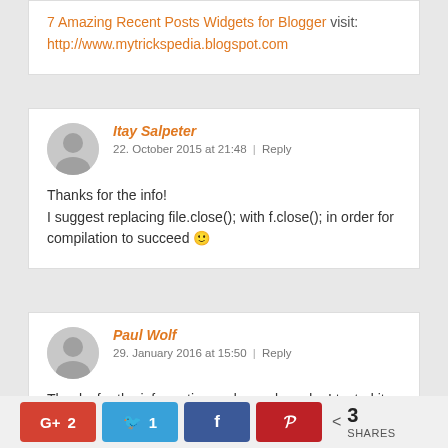7 Amazing Recent Posts Widgets for Blogger visit: http://www.mytrickspedia.blogspot.com
Itay Salpeter
22. October 2015 at 21:48 | Reply
Thanks for the info!
I suggest replacing file.close(); with f.close(); in order for compilation to succeed 🙂
Paul Wolf
29. January 2016 at 15:50 | Reply
Thanks for the information and sample code. I tested it